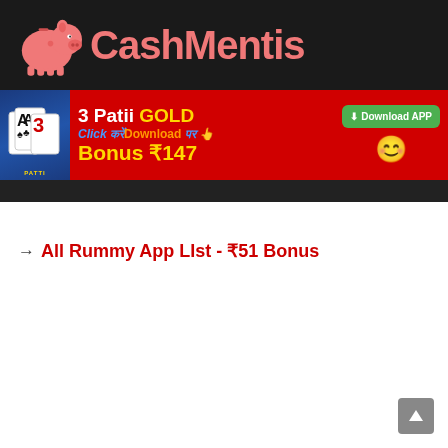[Figure (logo): CashMentis logo: pink piggy bank icon on black background with text 'CashMentis' in coral/salmon color]
[Figure (screenshot): 3 Patii GOLD advertisement banner with red background, card game image, 'Click करें Download पर' text, 'Bonus ₹147', and green Download APP button]
→ All Rummy App LIst - ₹51 Bonus